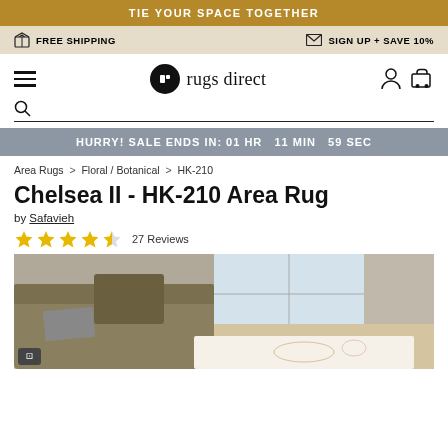TIE YOUR SPACE TOGETHER
FREE SHIPPING   SIGN UP + SAVE 10%
[Figure (logo): Rugs Direct logo with circular icon and wordmark 'rugs direct']
HURRY! SALE ENDS IN: 01 HR  11 MIN  59 SEC
Area Rugs > Floral / Botanical > HK-210
Chelsea II - HK-210 Area Rug
by Safavieh
27 Reviews
[Figure (photo): Product photo of Chelsea II HK-210 area rug shown in a living room setting with floral/botanical pattern]